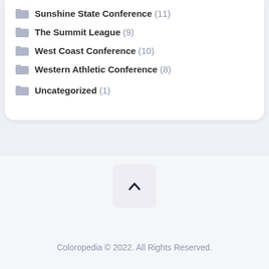Sunshine State Conference (11)
The Summit League (9)
West Coast Conference (10)
Western Athletic Conference (8)
Uncategorized (1)
[Figure (other): Scroll-to-top button with chevron up arrow]
Coloropedia © 2022. All Rights Reserved.